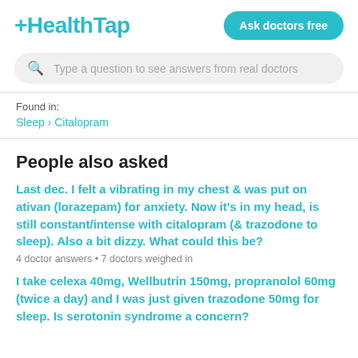+HealthTap
Ask doctors free
Type a question to see answers from real doctors
Found in:
Sleep › Citalopram
People also asked
Last dec. I felt a vibrating in my chest & was put on ativan (lorazepam) for anxiety. Now it's in my head, is still constant/intense with citalopram (& trazodone to sleep). Also a bit dizzy. What could this be?
4 doctor answers • 7 doctors weighed in
I take celexa 40mg, Wellbutrin 150mg, propranolol 60mg (twice a day) and I was just given trazodone 50mg for sleep. Is serotonin syndrome a concern?